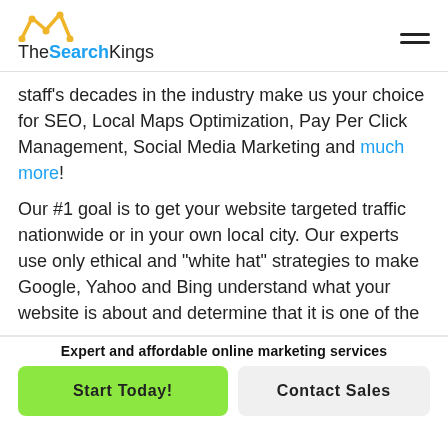TheSearchKings
staff's decades in the industry make us your choice for SEO, Local Maps Optimization, Pay Per Click Management, Social Media Marketing and much more!
Our #1 goal is to get your website targeted traffic nationwide or in your own local city. Our experts use only ethical and "white hat" strategies to make Google, Yahoo and Bing understand what your website is about and determine that it is one of the
Expert and affordable online marketing services
Start Today!
Contact Sales